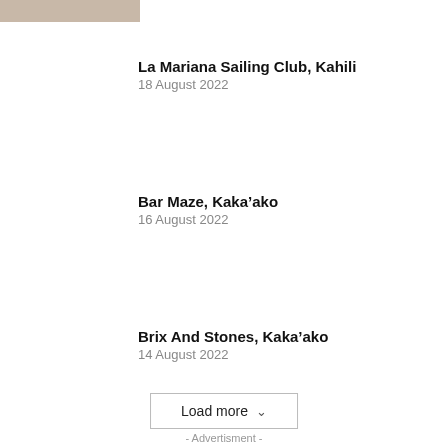[Figure (photo): Small thumbnail image at top left, blurred/placeholder]
La Mariana Sailing Club, Kahili
18 August 2022
Bar Maze, Kaka’ako
16 August 2022
Brix And Stones, Kaka’ako
14 August 2022
Load more ⌄
- Advertisment -